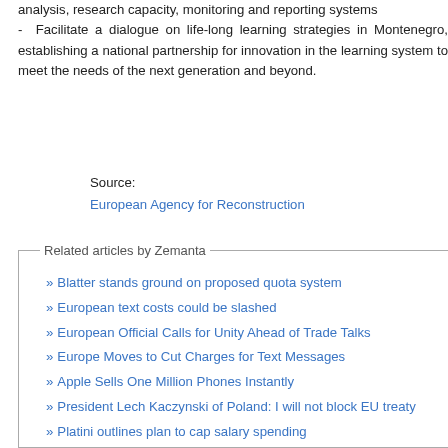analysis, research capacity, monitoring and reporting systems
- Facilitate a dialogue on life-long learning strategies in Montenegro, establishing a national partnership for innovation in the learning system to meet the needs of the next generation and beyond.
Source:
European Agency for Reconstruction
Related articles by Zemanta
» Blatter stands ground on proposed quota system
» European text costs could be slashed
» European Official Calls for Unity Ahead of Trade Talks
» Europe Moves to Cut Charges for Text Messages
» Apple Sells One Million Phones Instantly
» President Lech Kaczynski of Poland: I will not block EU treaty
» Platini outlines plan to cap salary spending
» Brussels calls for extra €2bn of funding for cleantech
» Think small! Less red tape, and more red carpets for European entrepreneurs.